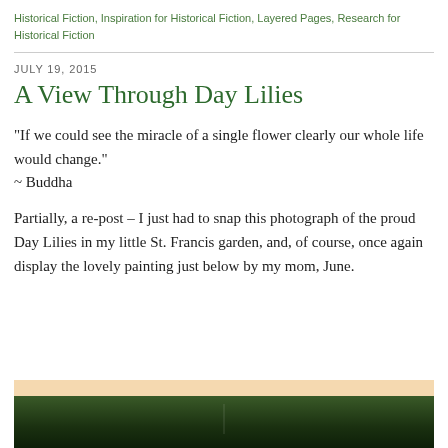Historical Fiction, Inspiration for Historical Fiction, Layered Pages, Research for Historical Fiction
JULY 19, 2015
A View Through Day Lilies
“If we could see the miracle of a single flower clearly our whole life would change.”
~ Buddha
Partially, a re-post – I just had to snap this photograph of the proud Day Lilies in my little St. Francis garden, and, of course, once again display the lovely painting just below by my mom, June.
[Figure (photo): A photograph showing dark green foliage against a light warm-toned background, partially visible at the bottom of the page.]